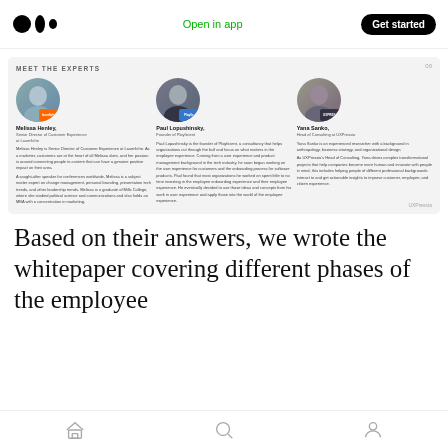Open in app  Get started
MEET THE EXPERTS
[Figure (infographic): Three expert profile cards with photos, names, titles, and bios: Melissa Henley (Senior Director of Customer Experience at Laserfiche), Paul Lopushinsky (Founder of Playficient), and Yana Sanko (Head of Consulting at UXPressia)]
Based on their answers, we wrote the whitepaper covering different phases of the employee
Home  Search  Profile